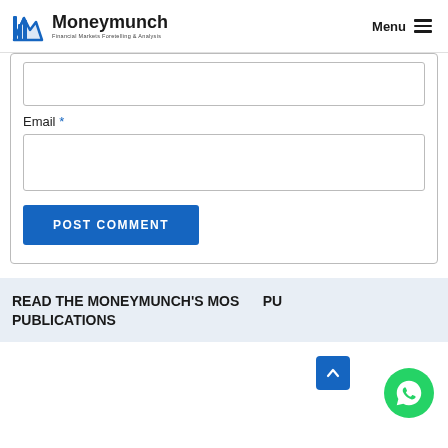Moneymunch — Financial Markets Foretelling & Analysis | Menu
Email *
[Figure (screenshot): Input text field (top, partially visible) and Email input field with POST COMMENT button]
READ THE MONEYMUNCH'S MOST POPULAR PUBLICATIONS